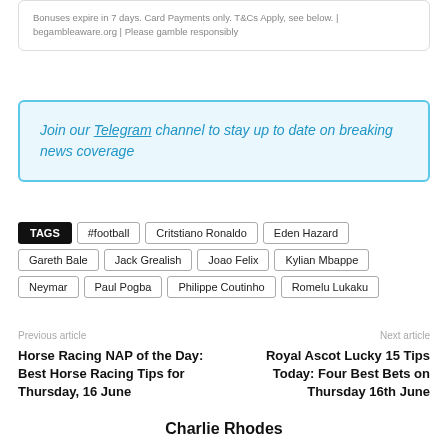Bonuses expire in 7 days. Card Payments only. T&Cs Apply, see below. | begambleaware.org | Please gamble responsibly
Join our Telegram channel to stay up to date on breaking news coverage
TAGS  #football  Critstiano Ronaldo  Eden Hazard  Gareth Bale  Jack Grealish  Joao Felix  Kylian Mbappe  Neymar  Paul Pogba  Philippe Coutinho  Romelu Lukaku
Previous article
Horse Racing NAP of the Day: Best Horse Racing Tips for Thursday, 16 June
Next article
Royal Ascot Lucky 15 Tips Today: Four Best Bets on Thursday 16th June
Charlie Rhodes